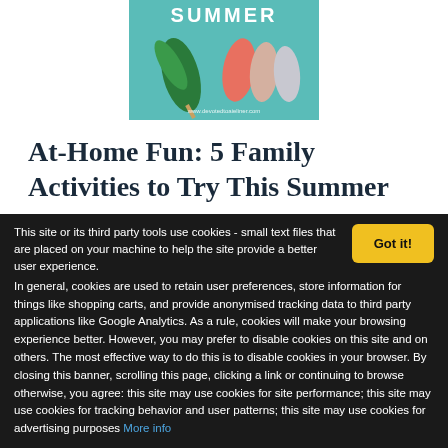[Figure (illustration): Summer-themed illustration with teal background, 'SUMMER' text in white/yellow, decorative leaf/plant shapes in green, coral teardrops, and website URL at bottom]
At-Home Fun: 5 Family Activities to Try This Summer
By Staci Gerardi | April 29, 2019 | Family |
Family activities are...
This site or its third party tools use cookies - small text files that are placed on your machine to help the site provide a better user experience. In general, cookies are used to retain user preferences, store information for things like shopping carts, and provide anonymised tracking data to third party applications like Google Analytics. As a rule, cookies will make your browsing experience better. However, you may prefer to disable cookies on this site and on others. The most effective way to do this is to disable cookies in your browser. By closing this banner, scrolling this page, clicking a link or continuing to browse otherwise, you agree: this site may use cookies for site performance; this site may use cookies for tracking behavior and user patterns; this site may use cookies for advertising purposes More info